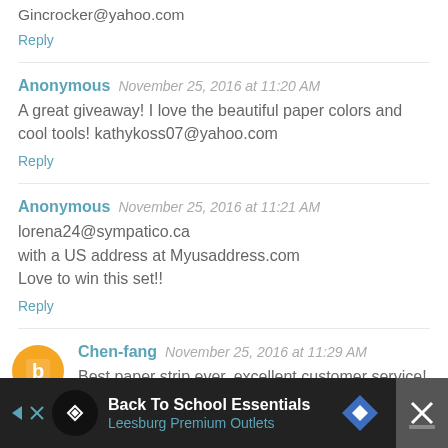Gincrocker@yahoo.com
Reply
Anonymous   November 25, 2016 at 11:20 AM
A great giveaway! I love the beautiful paper colors and cool tools! kathykoss07@yahoo.com
Reply
Anonymous   November 25, 2016 at 11:21 AM
lorena24@sympatico.ca
with a US address at Myusaddress.com
Love to win this set!!
Reply
Chen-fang   November 25, 2016 at 11:29 AM
Best paper strip ever, excellent customer service!
[Figure (screenshot): Advertisement banner: Back To School Essentials - Leesburg Premium Outlets, with navigation arrow icon and close button]